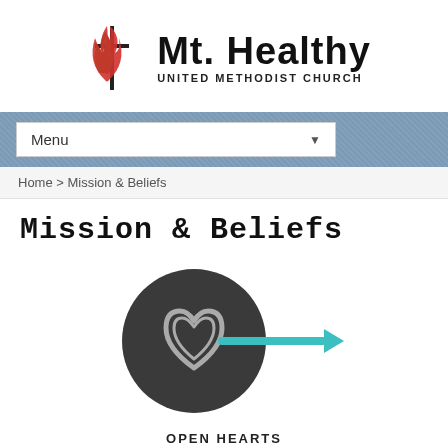[Figure (logo): Mt. Healthy United Methodist Church logo with cross and flame symbol]
[Figure (screenshot): Navigation menu bar with 'Menu' dropdown]
Home > Mission & Beliefs
Mission & Beliefs
[Figure (illustration): Dark circle icon with heart symbol and teal arrow pointing right labeled OPEN HEARTS]
OPEN HEARTS